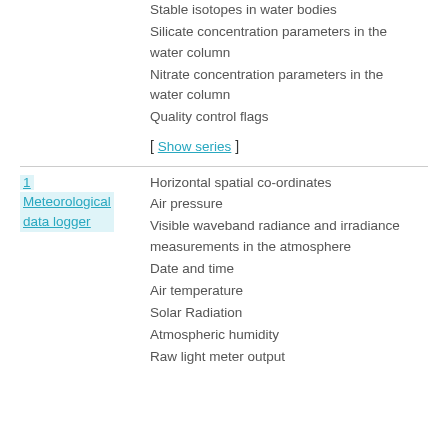Stable isotopes in water bodies
Silicate concentration parameters in the water column
Nitrate concentration parameters in the water column
Quality control flags
[ Show series ]
|  |  |
| --- | --- |
| 1
Meteorological data logger | Horizontal spatial co-ordinates
Air pressure
Visible waveband radiance and irradiance measurements in the atmosphere
Date and time
Air temperature
Solar Radiation
Atmospheric humidity
Raw light meter output |